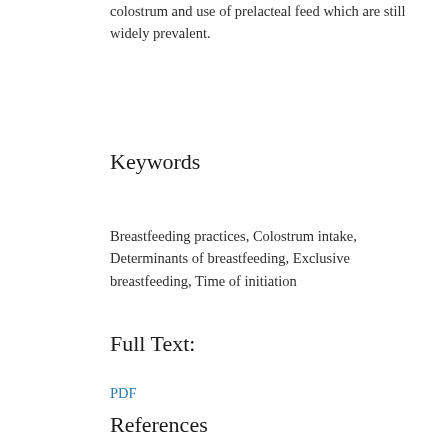colostrum and use of prelacteal feed which are still widely prevalent.
Keywords
Breastfeeding practices, Colostrum intake, Determinants of breastfeeding, Exclusive breastfeeding, Time of initiation
Full Text:
PDF
References
Chauhan A, Shah MS, Khalique N, Eram U. A community based study of neonatal mortality in Aligarh by using verbal autopsy. Int J Community Med Public Health. 2018;5(6):2491-4.
Molla K, Shewakena S, Maetti B. Breastfee...